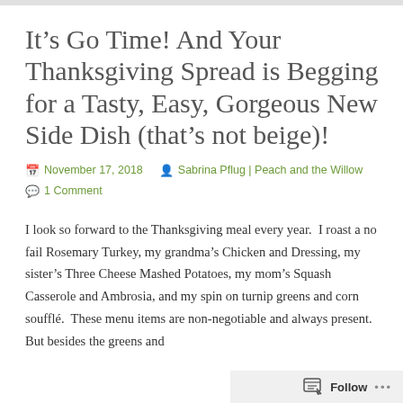It’s Go Time! And Your Thanksgiving Spread is Begging for a Tasty, Easy, Gorgeous New Side Dish (that’s not beige)!
November 17, 2018   Sabrina Pflug | Peach and the Willow
1 Comment
I look so forward to the Thanksgiving meal every year.  I roast a no fail Rosemary Turkey, my grandma’s Chicken and Dressing, my sister’s Three Cheese Mashed Potatoes, my mom’s Squash Casserole and Ambrosia, and my spin on turnip greens and corn soufflé.  These menu items are non-negotiable and always present.  But besides the greens and